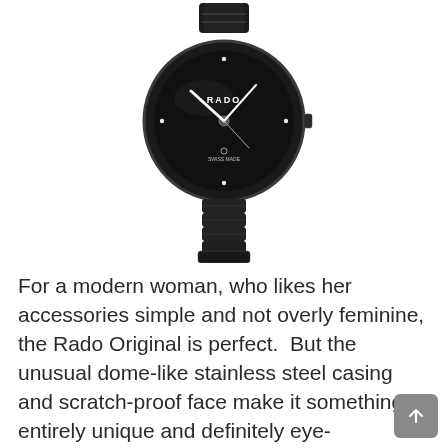[Figure (photo): A black Rado watch with a round face, 'RADO' text on the dial, diamond hour markers, white hands, and a black ceramic bracelet band.]
For a modern woman, who likes her accessories simple and not overly feminine, the Rado Original is perfect.  But the unusual dome-like stainless steel casing and scratch-proof face make it something entirely unique and definitely eye-